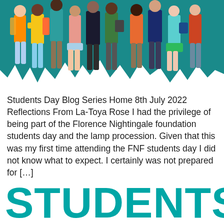[Figure (illustration): Illustration of a diverse group of students standing together against a teal/dark teal background. Students are depicted in various casual outfits with backpacks and books.]
Students Day Blog Series Home 8th July 2022 Reflections From La-Toya Rose I had the privilege of being part of the Florence Nightingale foundation students day and the lamp procession. Given that this was my first time attending the FNF students day I did not know what to expect. I certainly was not prepared for [...]
STUDENTS